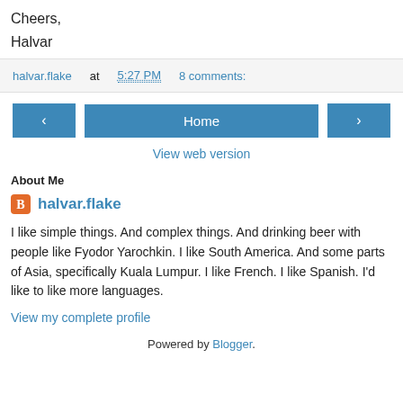Cheers,
Halvar
halvar.flake at 5:27 PM   8 comments:
[Figure (other): Navigation bar with left arrow button, Home button, and right arrow button]
View web version
About Me
halvar.flake
I like simple things. And complex things. And drinking beer with people like Fyodor Yarochkin. I like South America. And some parts of Asia, specifically Kuala Lumpur. I like French. I like Spanish. I'd like to like more languages.
View my complete profile
Powered by Blogger.